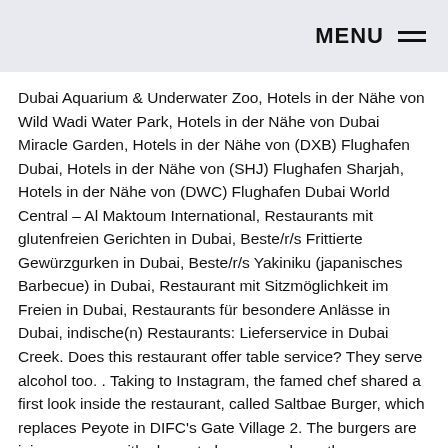MENU
Dubai Aquarium & Underwater Zoo, Hotels in der Nähe von Wild Wadi Water Park, Hotels in der Nähe von Dubai Miracle Garden, Hotels in der Nähe von (DXB) Flughafen Dubai, Hotels in der Nähe von (SHJ) Flughafen Sharjah, Hotels in der Nähe von (DWC) Flughafen Dubai World Central – Al Maktoum International, Restaurants mit glutenfreien Gerichten in Dubai, Beste/r/s Frittierte Gewürzgurken in Dubai, Beste/r/s Yakiniku (japanisches Barbecue) in Dubai, Restaurant mit Sitzmöglichkeit im Freien in Dubai, Restaurants für besondere Anlässe in Dubai, indische(n) Restaurants: Lieferservice in Dubai Creek. Does this restaurant offer table service? They serve alcohol too. . Taking to Instagram, the famed chef shared a first look inside the restaurant, called Saltbae Burger, which replaces Peyote in DIFC's Gate Village 2. The burgers are juicy so come with gloves to keep you clean. the undercooked burger, the manager had treated us with dessert (pistachio milkshake with a peice of baklava, was delicious) on the house due to the mix up which was much